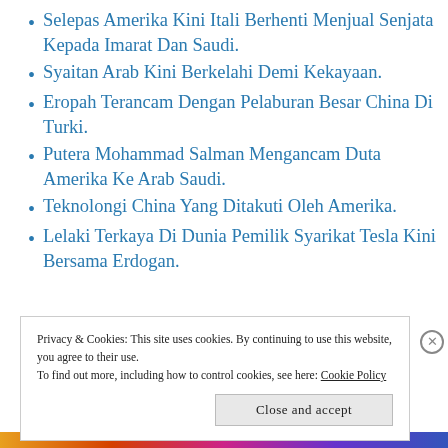Selepas Amerika Kini Itali Berhenti Menjual Senjata Kepada Imarat Dan Saudi.
Syaitan Arab Kini Berkelahi Demi Kekayaan.
Eropah Terancam Dengan Pelaburan Besar China Di Turki.
Putera Mohammad Salman Mengancam Duta Amerika Ke Arab Saudi.
Teknolongi China Yang Ditakuti Oleh Amerika.
Lelaki Terkaya Di Dunia Pemilik Syarikat Tesla Kini Bersama Erdogan.
Privacy & Cookies: This site uses cookies. By continuing to use this website, you agree to their use.
To find out more, including how to control cookies, see here: Cookie Policy